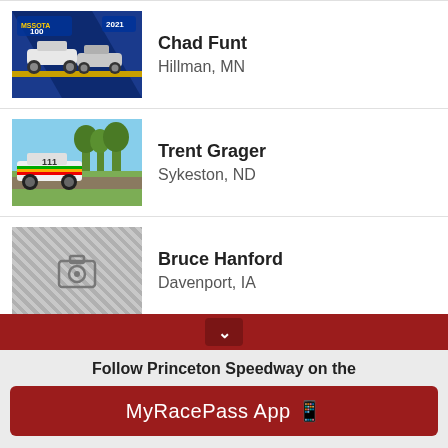[Figure (photo): Racing cars photo for Chad Funt entry - blue and white racing cars with MSSOTA 100 2021 branding]
Chad Funt
Hillman, MN
[Figure (photo): Racing truck photo for Trent Grager entry - white modified truck on dirt track with blue sky and trees]
Trent Grager
Sykeston, ND
[Figure (photo): Placeholder camera icon image for Bruce Hanford]
Bruce Hanford
Davenport, IA
[Figure (photo): Placeholder camera icon image for Mike Hansen]
Mike Hansen
Dickinson, ND
Follow Princeton Speedway on the
MyRacePass App